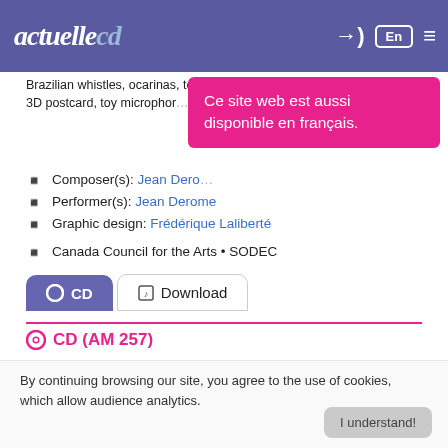actuellecd — En (navigation header with login, language, and menu icons)
Brazilian whistles, ocarinas, toy trumpet, Donald Duck, Native Fartle, 3D postcard, toy microphone
Ce site web est aussi disponible en français.
Composer(s): Jean Derome
Performer(s): Jean Derome
Graphic design: Frédérique Laliberté
Canada Council for the Arts • SODEC
CD | Download (tabs)
CD (AM 257)
1 ▶ Cantus Firmus (Jean Derome) (2020), 6:55
By continuing browsing our site, you agree to the use of cookies, which allow audience analytics.